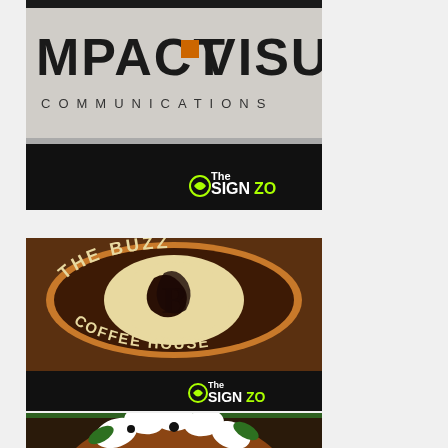[Figure (photo): Partial view of a business sign reading 'IMPACT VISUAL COMMUNICATIONS' with a The SignZoo watermark in the lower right corner on a black bar.]
[Figure (photo): Oval wooden carved sign for 'THE BUZZ COFFEE HOUSE' with a stylized coffee bean and letter B logo in brown, cream, and black tones. The SignZoo watermark visible in lower right on black bar.]
[Figure (photo): Partial view of a circular decorative sign with white dogwood flowers and green leaves on a brown background with green border.]